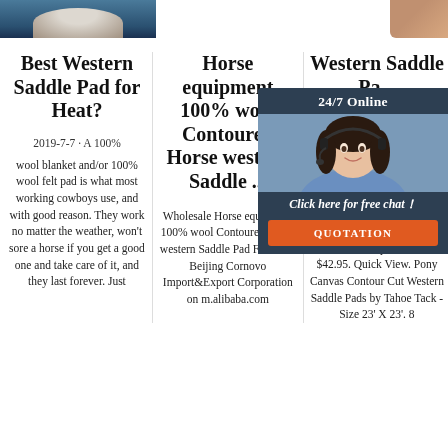[Figure (photo): Top-left photo of what appears to be a horse/animal partially visible, blue background]
[Figure (photo): Top-right partial photo, brown/tan color]
Best Western Saddle Pad for Heat?
2019-7-7 · A 100% wool blanket and/or 100% wool felt pad is what most working cowboys use, and with good reason. They work no matter the weather, won't sore a horse if you get a good one and take care of it, and they last forever. Just
Horse equipment 100% wool Contoured Horse western Saddle ...
Wholesale Horse equipment 100% wool Contoured Horse western Saddle Pad Felt from Beijing Cornovo Import&Export Corporation on m.alibaba.com
Western Saddle Pa... T Wh
Tahoe T... Canva... Wool... Com... Pad. 0... List p... $42.95. Quick View. Pony Canvas Contour Cut Western Saddle Pads by Tahoe Tack - Size 23' X 23'. 8
[Figure (photo): Chat widget with dark blue background, woman with headset (customer service), 24/7 Online header, Click here for free chat button, QUOTATION button in orange]